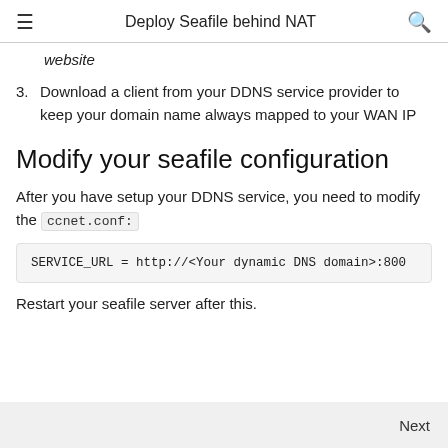Deploy Seafile behind NAT
website
3. Download a client from your DDNS service provider to keep your domain name always mapped to your WAN IP
Modify your seafile configuration
After you have setup your DDNS service, you need to modify the ccnet.conf:
SERVICE_URL = http://<Your dynamic DNS domain>:800
Restart your seafile server after this.
Next